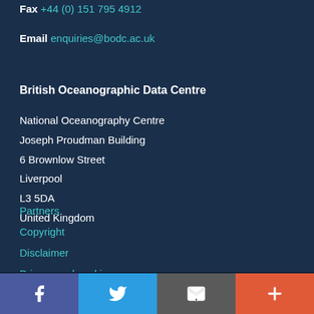Fax +44 (0) 151 795 4912
Email enquiries@bodc.ac.uk
British Oceanographic Data Centre
National Oceanography Centre
Joseph Proudman Building
6 Brownlow Street
Liverpool
L3 5DA
United Kingdom
Partners
Copyright
Disclaimer
Privacy and cookies
[Figure (infographic): Social media bar with four buttons: Facebook (purple), Twitter (blue), Email/envelope (grey), Plus/more (red-orange)]